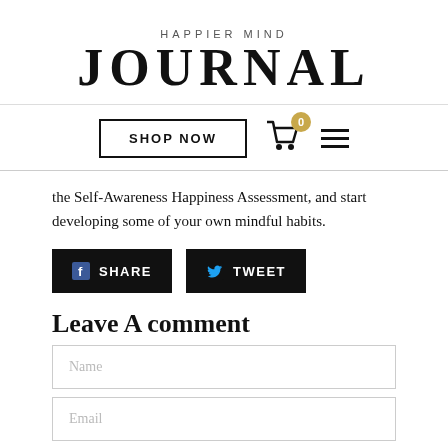HAPPIER MIND JOURNAL
[Figure (infographic): Navigation bar with SHOP NOW button, shopping cart icon with badge showing 0, and hamburger menu icon]
the Self-Awareness Happiness Assessment, and start developing some of your own mindful habits.
[Figure (infographic): Social share buttons: SHARE (Facebook) and TWEET (Twitter)]
Leave A comment
Name
Email